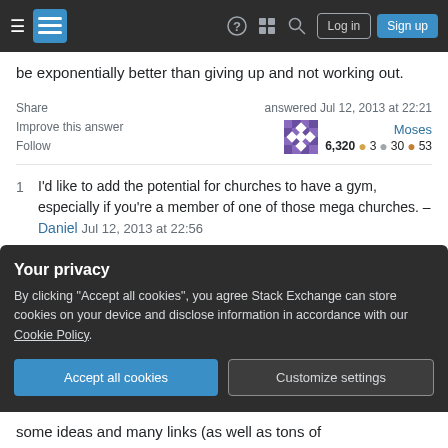Stack Exchange navigation bar with hamburger menu, logo, help, chat, search, Log in, Sign up
be exponentially better than giving up and not working out.
Share  Improve this answer  Follow  answered Jul 12, 2013 at 22:21  Moses  6,320 ●3 ●30 ●53
1  I'd like to add the potential for churches to have a gym, especially if you're a member of one of those mega churches. – Daniel Jul 12, 2013 at 22:56
1  Cannot believe I forgot that, considering that every Monday I play basketball at my friend's church!
Your privacy
By clicking "Accept all cookies", you agree Stack Exchange can store cookies on your device and disclose information in accordance with our Cookie Policy.
some ideas and many links (as well as tons of